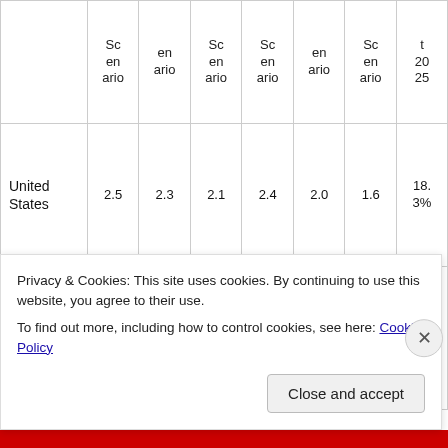|  | Scenario | Scenario | Scenario | Scenario | Scenario | Scenario | t 2025 |
| --- | --- | --- | --- | --- | --- | --- | --- |
| United States | 2.5 | 2.3 | 2.1 | 2.4 | 2.0 | 1.6 | 18.3% |
| Europe* | 1.5 | 1.2 | 0.8 | 1.6 | 1.3 | 0.9 | 17.4% |
Privacy & Cookies: This site uses cookies. By continuing to use this website, you agree to their use.
To find out more, including how to control cookies, see here: Cookie Policy